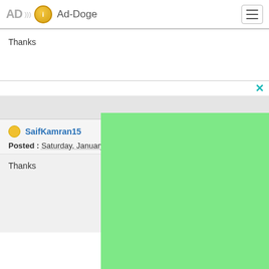Ad-Doge
Thanks
[Figure (screenshot): Green advertisement overlay with close (X) button in teal color]
SaifKamran15
Posted : Saturday, January 15
Thanks